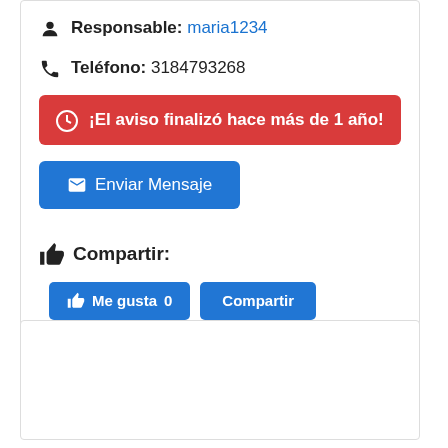Responsable: maria1234
Teléfono: 3184793268
¡El aviso finalizó hace más de 1 año!
Enviar Mensaje
Compartir:
Me gusta 0
Compartir
Twittear
Seguir a @TuAvisoClasifBS